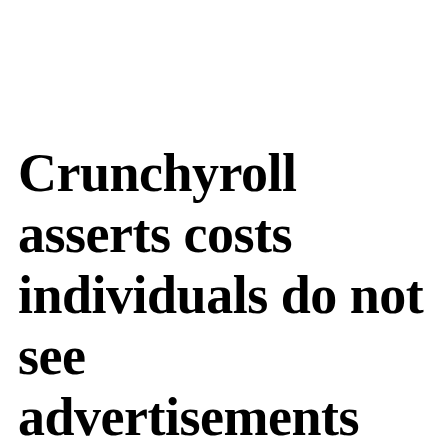Crunchyroll asserts costs individuals do not see advertisements